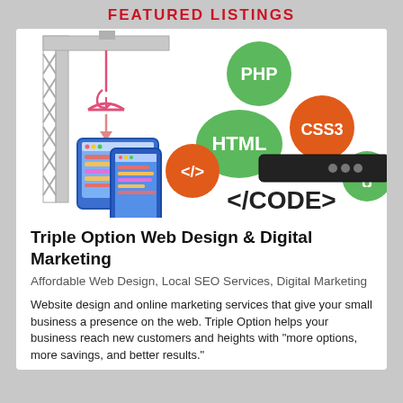FEATURED LISTINGS
[Figure (illustration): Web design illustration: a construction crane holding a computer/tablet device with a code editor on screen, surrounded by technology bubbles labeled PHP, HTML, CSS3, a code tag symbol, curly braces, and the text </CODE>]
Triple Option Web Design & Digital Marketing
Affordable Web Design, Local SEO Services, Digital Marketing
Website design and online marketing services that give your small business a presence on the web. Triple Option helps your business reach new customers and heights with "more options, more savings, and better results."